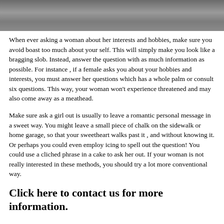[Figure (photo): Partial photo at top of page showing a dark gray textured surface, possibly concrete or asphalt, with a small dark object partially visible at the top right.]
When ever asking a woman about her interests and hobbies, make sure you avoid boast too much about your self. This will simply make you look like a bragging slob. Instead, answer the question with as much information as possible. For instance , if a female asks you about your hobbies and interests, you must answer her questions which has a whole palm or consult six questions. This way, your woman won't experience threatened and may also come away as a meathead.
Make sure ask a girl out is usually to leave a romantic personal message in a sweet way. You might leave a small piece of chalk on the sidewalk or home garage, so that your sweetheart walks past it , and without knowing it. Or perhaps you could even employ icing to spell out the question! You could use a cliched phrase in a cake to ask her out. If your woman is not really interested in these methods, you should try a lot more conventional way.
Click here to contact us for more information.